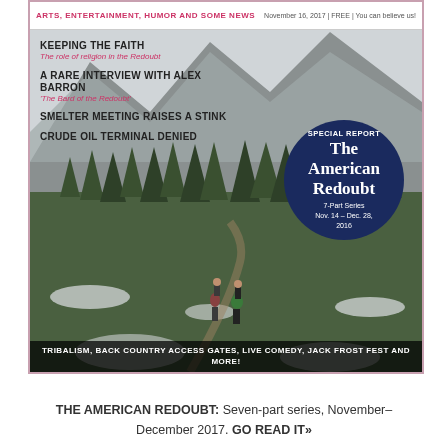[Figure (photo): Magazine cover showing two hikers walking on a snowy mountain trail with evergreen trees and misty peaks. The cover includes article headlines on the left and a dark blue circular badge reading 'Special Report: The American Redoubt, 7-Part Series, Nov. 14 – Dec. 28, 2016'.]
THE AMERICAN REDOUBT: Seven-part series, November–December 2017. GO READ IT»